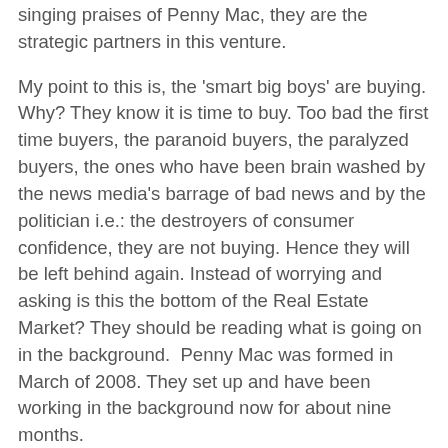singing praises of Penny Mac, they are the strategic partners in this venture.
My point to this is, the 'smart big boys' are buying. Why? They know it is time to buy. Too bad the first time buyers, the paranoid buyers, the paralyzed buyers, the ones who have been brain washed by the news media's barrage of bad news and by the politician i.e.: the destroyers of consumer confidence, they are not buying. Hence they will be left behind again. Instead of worrying and asking is this the bottom of the Real Estate Market? They should be reading what is going on in the background.  Penny Mac was formed in March of 2008. They set up and have been working in the background now for about nine months.
So my message to the fence sitting buyers is, it is time to get off the fence and if you want to sit around the fire place in a few years to tell stories that you bought were lucky to buy at the bottom of the market like your parents in the 80's and your